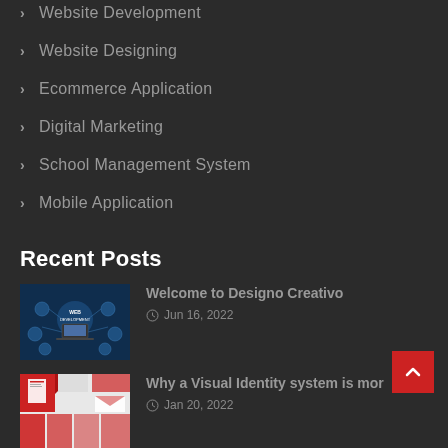> Website Development
> Website Designing
> Ecommerce Application
> Digital Marketing
> School Management System
> Mobile Application
Recent Posts
[Figure (photo): Web development themed image with a laptop and icons on a dark blue background, text 'WEB DEVELOPMENT']
Welcome to Designo Creativo
Jun 16, 2022
[Figure (photo): Visual identity design collage with red and white brand elements]
Why a Visual Identity system is mor
Jan 20, 2022